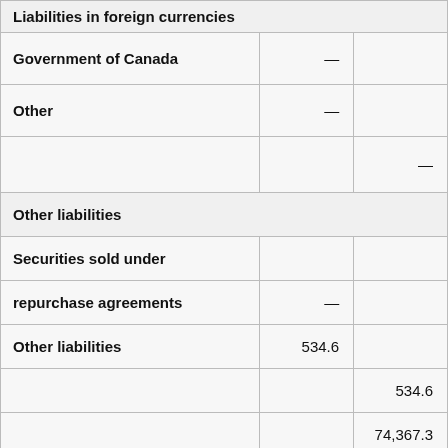|  |  |  |
| --- | --- | --- |
| Liabilities in foreign currencies |  |  |
| Government of Canada | — |  |
| Other | — |  |
|  |  | — |
| Other liabilities |  |  |
| Securities sold under |  |  |
| repurchase agreements | — |  |
| Other liabilities | 534.6 |  |
|  |  | 534.6 |
|  |  | 74,367.3 |
| Equity |  |  |